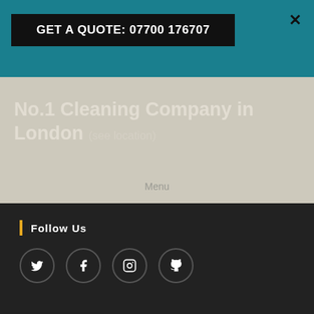GET A QUOTE: 07700 176707
No.1 Cleaning Company in London (see location)
Menu
Follow Us
[Figure (other): Social media icons: Twitter, Facebook, Instagram, GitHub]
Contact Us   Copyright © 2020 End Of Tenancy Cleaning Pro